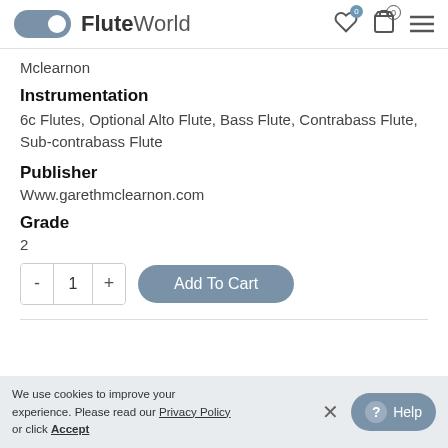FluteWorld
Mclearnon
Instrumentation
6c Flutes, Optional Alto Flute, Bass Flute, Contrabass Flute, Sub-contrabass Flute
Publisher
Www.garethmclearnon.com
Grade
2
- 1 + Add To Cart
We use cookies to improve your experience. Please read our Privacy Policy or click Accept